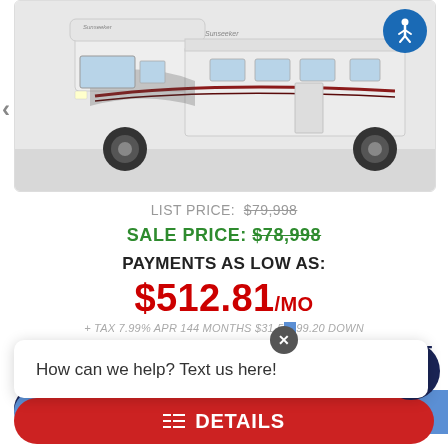[Figure (photo): White Class C motorhome (Sunseeker brand) parked, side view, white background]
LIST PRICE: $79,998
SALE PRICE: $78,998
PAYMENTS AS LOW AS:
$512.81/MO
+ TAX 7.99% APR 144 MONTHS $31,599.20 DOWN
How can we help? Text us here!
CLICK FOR LOWEST PRICE
Text us!
APPLY FOR FINANCING
DETAILS